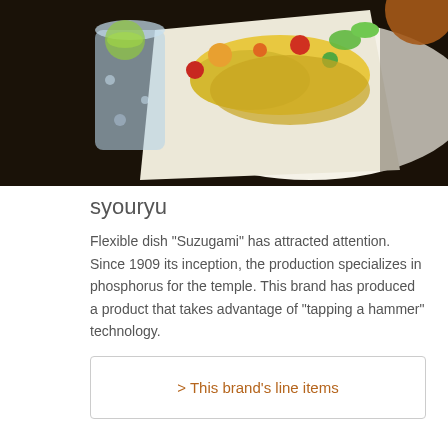[Figure (photo): Food photo showing a colorful Japanese dish (Suzugami tin plate) with assorted items, garnishes, and a glass of water with lime on a dark table surface.]
syouryu
Flexible dish "Suzugami" has attracted attention. Since 1909 its inception, the production specializes in phosphorus for the temple. This brand has produced a product that takes advantage of "tapping a hammer" technology.
> This brand's line items
Related Posts
Original Suzugami set for gifts!
Suzugami was introduced at TBS "Tokoro-san-no-Nippon-